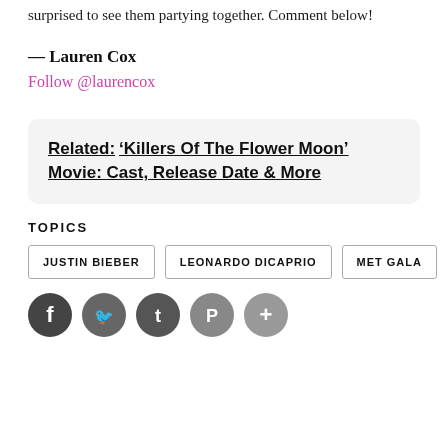surprised to see them partying together. Comment below!
— Lauren Cox
Follow @laurencox
Related: 'Killers Of The Flower Moon' Movie: Cast, Release Date & More
TOPICS
JUSTIN BIEBER
LEONARDO DICAPRIO
MET GALA
[Figure (other): Social media share icons: Facebook, Twitter, Tumblr, Pinterest, More]